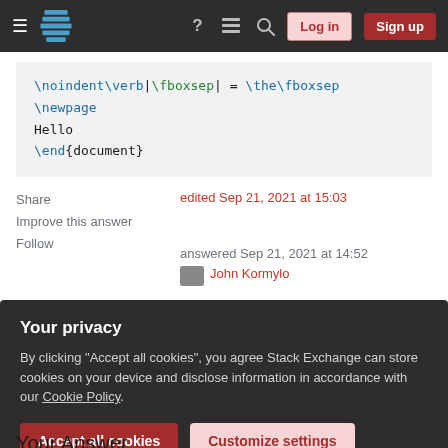Stack Exchange navigation bar with Log in and Sign up buttons
[Figure (screenshot): Code block showing LaTeX code: \noindent\verb|\fboxsep| = \the\fboxsep, \newpage, Hello, \end{document}]
Share
Improve this answer
Follow
edited Sep 21, 2021 at 15:03
answered Sep 21, 2021 at 14:52
John Kormylo
Your privacy
By clicking "Accept all cookies", you agree Stack Exchange can store cookies on your device and disclose information in accordance with our Cookie Policy.
Accept all cookies
Customize settings
Your Answer